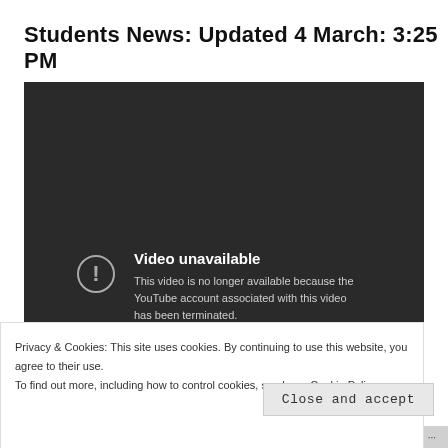Students News: Updated 4 March: 3:25 PM
[Figure (screenshot): YouTube video player showing 'Video unavailable' error. The player has a dark background with a circle-exclamation icon and text: 'Video unavailable. This video is no longer available because the YouTube account associated with this video has been terminated.']
Privacy & Cookies: This site uses cookies. By continuing to use this website, you agree to their use.
To find out more, including how to control cookies, see here: Cookie Policy
Close and accept